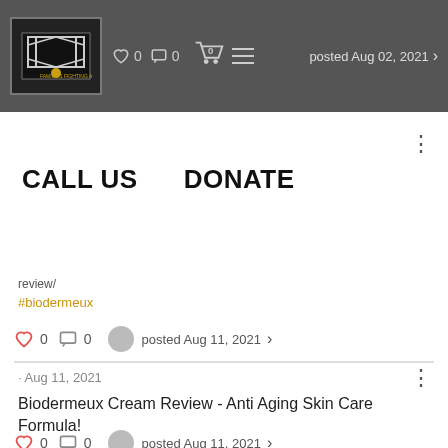[Figure (screenshot): Website navigation bar with logo, heart icon (0), comment icon (0), cart icon (0), posted Aug 02 2021, hamburger menu, and CALL US / DONATE buttons overlay]
review/
#biodermeux
0  0  posted Aug 11, 2021 >
· Aug 11, 2021
Biodermeux Cream Review - Anti Aging Skin Care Formula!
0  0  posted Aug 11, 2021 >
Get Monthly Updates